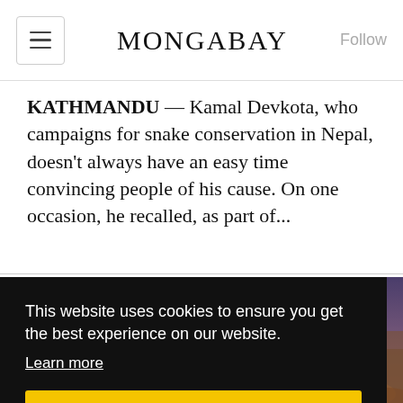MONGABAY
KATHMANDU — Kamal Devkota, who campaigns for snake conservation in Nepal, doesn't always have an easy time convincing people of his cause. On one occasion, he recalled, as part of...
[Figure (photo): Outdoor landscape photo with purple-hued sky and dry vegetation on the ground]
This website uses cookies to ensure you get the best experience on our website.
Learn more
Got it!